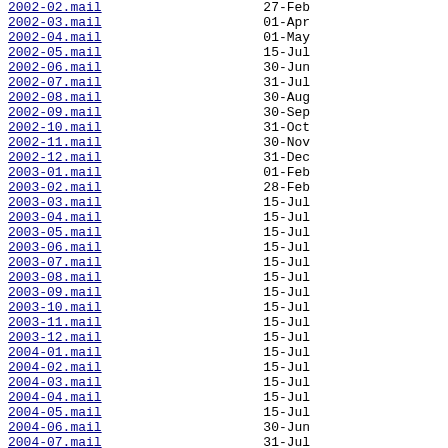2002-02.mail   27-Feb
2002-03.mail   01-Apr
2002-04.mail   01-May
2002-05.mail   15-Jul
2002-06.mail   30-Jun
2002-07.mail   31-Jul
2002-08.mail   30-Aug
2002-09.mail   30-Sep
2002-10.mail   31-Oct
2002-11.mail   30-Nov
2002-12.mail   31-Dec
2003-01.mail   01-Feb
2003-02.mail   28-Feb
2003-03.mail   15-Jul
2003-04.mail   15-Jul
2003-05.mail   15-Jul
2003-06.mail   15-Jul
2003-07.mail   15-Jul
2003-08.mail   15-Jul
2003-09.mail   15-Jul
2003-10.mail   15-Jul
2003-11.mail   15-Jul
2003-12.mail   15-Jul
2004-01.mail   15-Jul
2004-02.mail   15-Jul
2004-03.mail   15-Jul
2004-04.mail   15-Jul
2004-05.mail   15-Jul
2004-06.mail   30-Jun
2004-07.mail   31-Jul